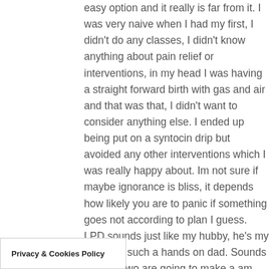easy option and it really is far from it. I was very naive when I had my first, I didn't do any classes, I didn't know anything about pain relief or interventions, in my head I was having a straight forward birth with gas and air and that was that, I didn't want to consider anything else. I ended up being put on a syntocin drip but avoided any other interventions which I was really happy about. Im not sure if maybe ignorance is bliss, it depends how likely you are to panic if something goes not according to plan I guess. LPD sounds just like my hubby, he's my rock and such a hands on dad. Sounds like you two are going to make a am when your little pickle arrives
Privacy & Cookies Policy